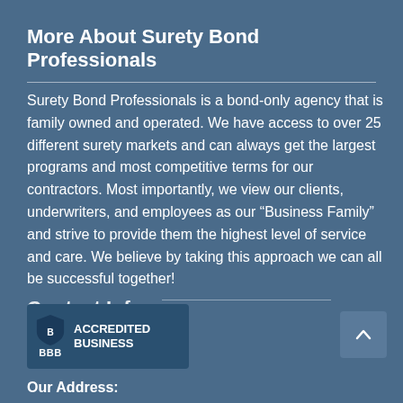More About Surety Bond Professionals
Surety Bond Professionals is a bond-only agency that is family owned and operated. We have access to over 25 different surety markets and can always get the largest programs and most competitive terms for our contractors. Most importantly, we view our clients, underwriters, and employees as our “Business Family” and strive to provide them the highest level of service and care. We believe by taking this approach we can all be successful together!
Contact Info
[Figure (logo): BBB Accredited Business badge with shield logo]
Our Address: